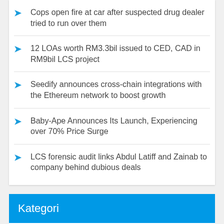Cops open fire at car after suspected drug dealer tried to run over them
12 LOAs worth RM3.3bil issued to CED, CAD in RM9bil LCS project
Seedify announces cross-chain integrations with the Ethereum network to boost growth
Baby-Ape Announces Its Launch, Experiencing over 70% Price Surge
LCS forensic audit links Abdul Latiff and Zainab to company behind dubious deals
Kategori